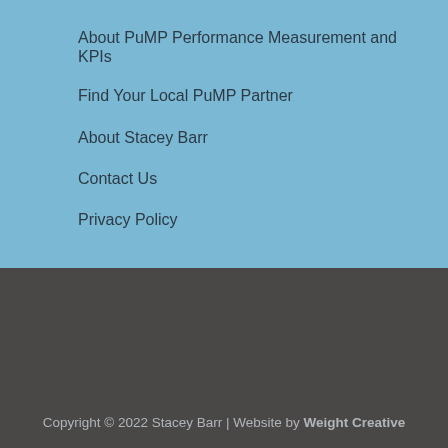About PuMP Performance Measurement and KPIs
Find Your Local PuMP Partner
About Stacey Barr
Contact Us
Privacy Policy
Copyright © 2022 Stacey Barr | Website by Weight Creative